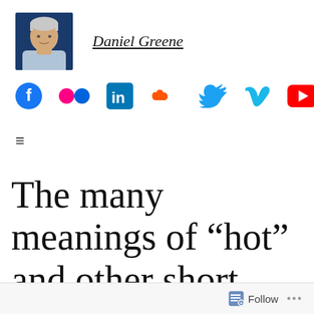[Figure (photo): Profile photo of Daniel Greene, a man with grey/white hair wearing a light blue shirt, with a blue background]
Daniel Greene
[Figure (infographic): Social media icons row: Facebook (blue), Flickr (two dots, pink/purple), LinkedIn (blue), SoundCloud (orange), Twitter (blue bird), Vimeo (blue V), YouTube (red)]
≡
The many meanings of “hot” and other short words
Follow ···